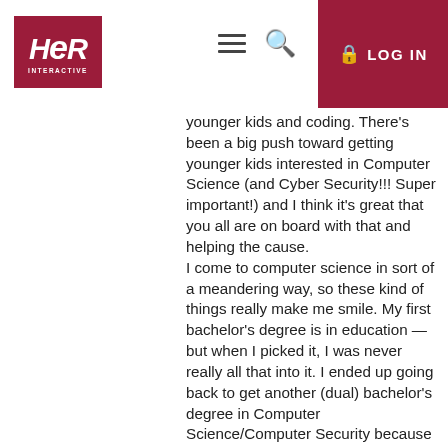[Figure (logo): HEr Interactive logo in dark red/maroon color]
LOG IN
younger kids and coding. There's been a big push toward getting younger kids interested in Computer Science (and Cyber Security!!! Super important!) and I think it's great that you all are on board with that and helping the cause.
I come to computer science in sort of a meandering way, so these kind of things really make me smile. My first bachelor's degree is in education — but when I picked it, I was never really all that into it. I ended up going back to get another (dual) bachelor's degree in Computer Science/Computer Security because programming and security are really cool … and that's where all the jobs are at!

I think if I had been introduced to the field as a young student, I would have taken to it and majored in it my first time at college instead. Unfortunately, it wasn't until I'd graduated that my friends prodded me into trying coding. I loved it. It was like a weird moment of knowing exactly what I wanted